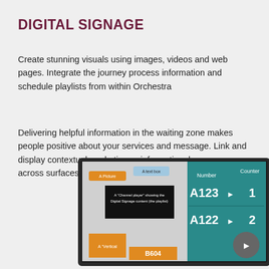DIGITAL SIGNAGE
Create stunning visuals using images, videos and web pages. Integrate the journey process information and schedule playlists from within Orchestra
Delivering helpful information in the waiting zone makes people positive about your services and message. Link and display contextual marketing or informational messages across surfaces
[Figure (screenshot): Screenshot of a digital signage interface showing a monitor with queue management display. Left side shows layout elements: 'A Picture', 'A text box', 'A Channel player showing the Digital Signage content (the playlist)', 'A Vertical'. Right side shows a teal queue display with Number/Counter columns showing A123 > 1, A122 > 2, and B604.]